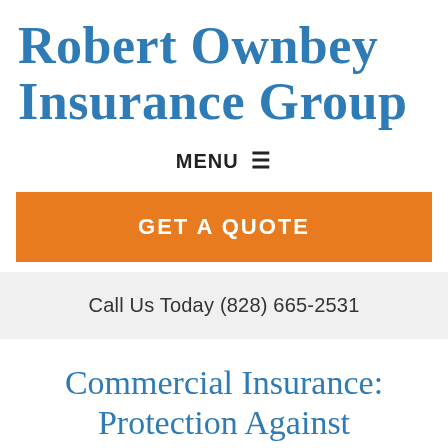Robert Ownbey Insurance Group
MENU ☰
GET A QUOTE
Call Us Today (828) 665-2531
Commercial Insurance: Protection Against